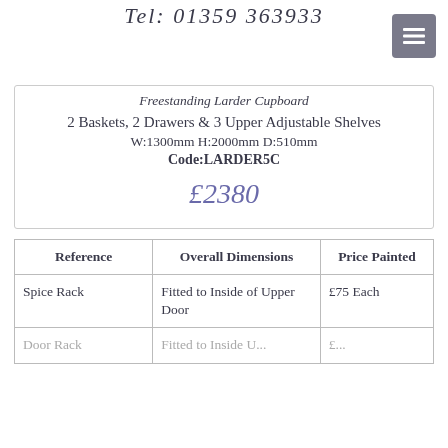Tel: 01359 363933
Freestanding Larder Cupboard
2 Baskets, 2 Drawers & 3 Upper Adjustable Shelves
W:1300mm H:2000mm D:510mm
Code:LARDER5C
£2380
| Reference | Overall Dimensions | Price Painted |
| --- | --- | --- |
| Spice Rack | Fitted to Inside of Upper Door | £75 Each |
| Door Rack | Fitted to Inside... | £... |